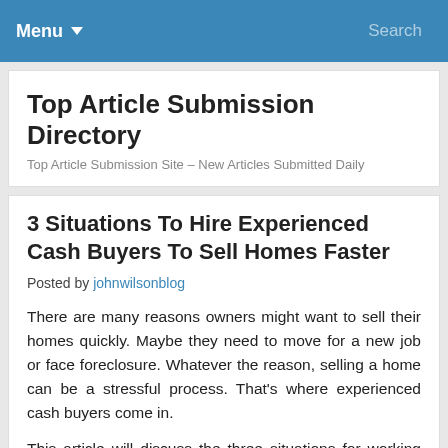Menu  Search
Top Article Submission Directory
Top Article Submission Site – New Articles Submitted Daily
3 Situations To Hire Experienced Cash Buyers To Sell Homes Faster
Posted by johnwilsonblog
There are many reasons owners might want to sell their homes quickly. Maybe they need to move for a new job or face foreclosure. Whatever the reason, selling a home can be a stressful process. That's where experienced cash buyers come in.
This article will discuss the three situations for working with an experienced cash buyer when ready to sell your home.